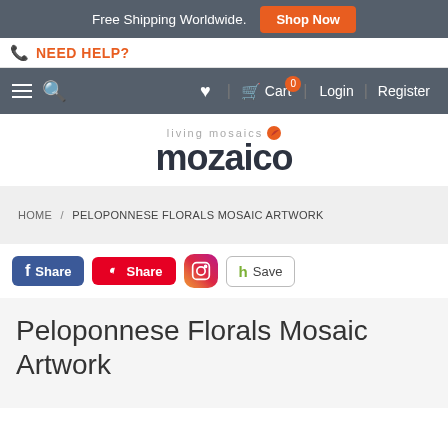Free Shipping Worldwide.  Shop Now
NEED HELP?
Menu  Search  Wishlist  Cart 0  Login  Register
[Figure (logo): living mosaics mozaico logo with orange leaf accent]
HOME / PELOPONNESE FLORALS MOSAIC ARTWORK
f Share  Share (Pinterest)  Instagram  Save (Houzz)
Peloponnese Florals Mosaic Artwork